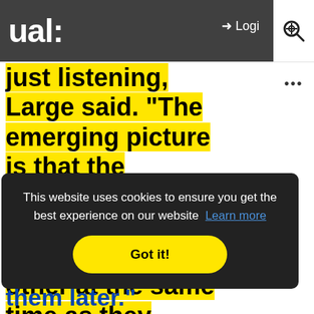ual:   Login
just listening, Large said. “The emerging picture is that the auditory and motor regions sync with each other at the same time as they synchronize to
[Figure (screenshot): Cookie consent banner with dark background. Text: 'This website uses cookies to ensure you get the best experience on our website  Learn more' and a yellow 'Got it!' button.]
them later.”